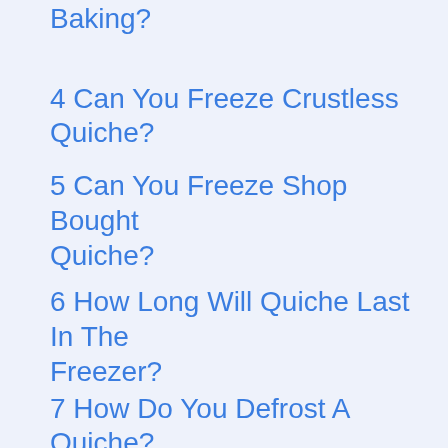Baking?
4 Can You Freeze Crustless Quiche?
5 Can You Freeze Shop Bought Quiche?
6 How Long Will Quiche Last In The Freezer?
7 How Do You Defrost A Quiche?
8 How To Reheat Frozen Quiche
9 Quiche Is The Perfect Freezer Food